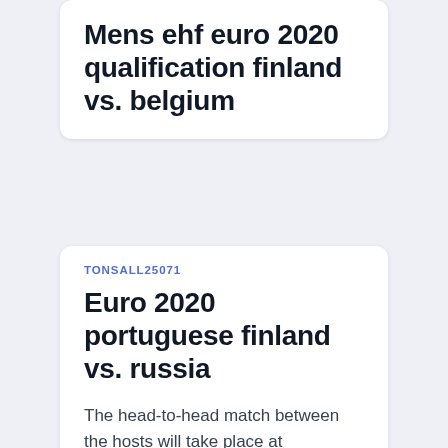Mens ehf euro 2020 qualification finland vs. belgium
TONSALL25071
Euro 2020 portuguese finland vs. russia
The head-to-head match between the hosts will take place at Denmark's Parken Stadium. Catch all of the UEFA Euro 2020 action at The Pontcanna Inn where we'll be showing Finland vs Russia live on our HD screens.